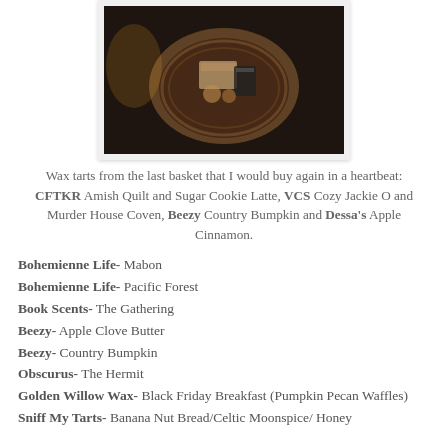[Figure (photo): Top-down photo of a wicker basket containing wax tarts and small packaged items on a dark wooden surface]
Wax tarts from the last basket that I would buy again in a heartbeat: CFTKR Amish Quilt and Sugar Cookie Latte, VCS Cozy Jackie O and Murder House Coven, Beezy Country Bumpkin and Dessa's Apple Cinnamon.
Bohemienne Life- Mabon
Bohemienne Life- Pacific Forest
Book Scents- The Gathering
Beezy- Apple Clove Butter
Beezy- Country Bumpkin
Obscurus- The Hermit
Golden Willow Wax- Black Friday Breakfast (Pumpkin Pecan Waffles)
Sniff My Tarts- Banana Nut Bread/Celtic Moonspice/ Honey